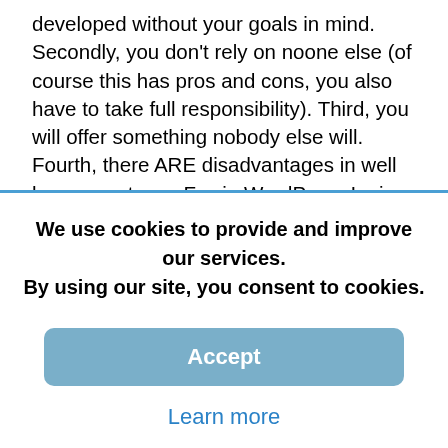developed without your goals in mind. Secondly, you don't rely on noone else (of course this has pros and cons, you also have to take full responsibility). Third, you will offer something nobody else will. Fourth, there ARE disadvantages in well known systems. F.e. in WordPress I miss the feature of being able to edit page blocks. I know there are widgets, but widgets originally made for sidebars and the whole widget dashboard is built accordingly. I know there are shortcodes, but you can't offer that as an easy to use surface for clients. I know there are good themes with great editors and drag and drop editing, but then you need to stick yourself to those themes. I know you still could do it by creating a totally unique admin page for that, but at that point you need to do serious PHP work. And if
We use cookies to provide and improve our services. By using our site, you consent to cookies.
Accept
Learn more